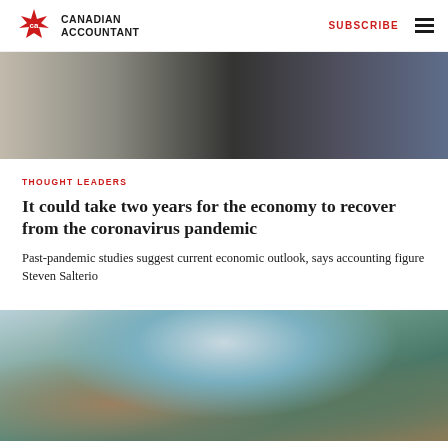Canadian Accountant — SUBSCRIBE
[Figure (photo): Blurred image of a grocery store aisle with shopping carts and a person in dark clothing]
THOUGHT LEADERS
It could take two years for the economy to recover from the coronavirus pandemic
Past-pandemic studies suggest current economic outlook, says accounting figure Steven Salterio
[Figure (photo): Aerial satellite photograph of Earth showing land masses with snow and clouds]